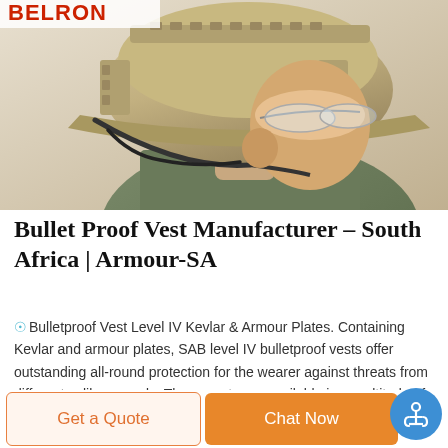[Figure (photo): Military tactical helmet in tan/coyote color with black straps and rail system, worn by a person with clear protective glasses visible, photo taken from side profile. Red brand logo partially visible at top left.]
Bullet Proof Vest Manufacturer – South Africa | Armour-SA
Bulletproof Vest Level IV Kevlar & Armour Plates. Containing Kevlar and armour plates, SAB level IV bulletproof vests offer outstanding all-round protection for the wearer against threats from different calibre rounds. These vests are available in a multitude of colours, like all our vests, and worn over clothing.
Get a Quote
Chat Now